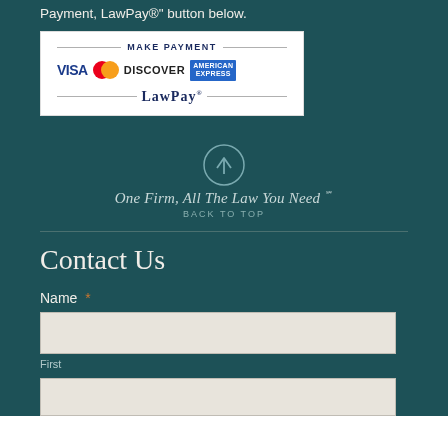Payment, LawPay®" button below.
[Figure (logo): LawPay payment button showing MAKE PAYMENT header with VISA, MasterCard, DISCOVER, AMERICAN EXPRESS logos and LawPay branding]
One Firm, All The Law You Need ℠
BACK TO TOP
Contact Us
Name *
First